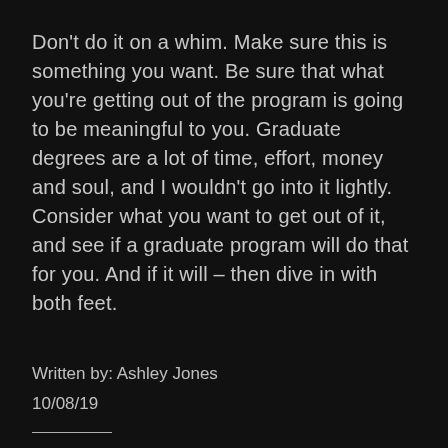Don't do it on a whim. Make sure this is something you want. Be sure that what you're getting out of the program is going to be meaningful to you. Graduate degrees are a lot of time, effort, money and soul, and I wouldn't go into it lightly. Consider what you want to get out of it, and see if a graduate program will do that for you. And if it will – then dive in with both feet.
Written by: Ashley Jones
10/08/19
Share this: